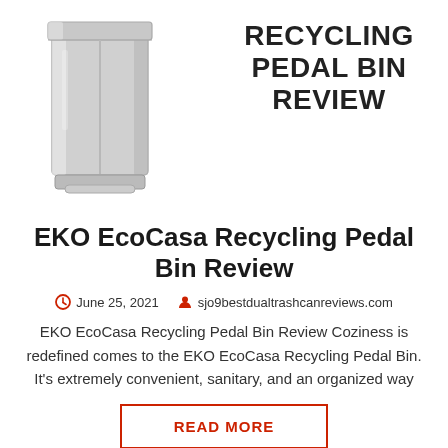[Figure (photo): Silver stainless steel step pedal recycling bin on white background]
RECYCLING PEDAL BIN REVIEW
EKO EcoCasa Recycling Pedal Bin Review
June 25, 2021   sjo9bestdualtrashcanreviews.com
EKO EcoCasa Recycling Pedal Bin Review Coziness is redefined comes to the EKO EcoCasa Recycling Pedal Bin. It's extremely convenient, sanitary, and an organized way
READ MORE